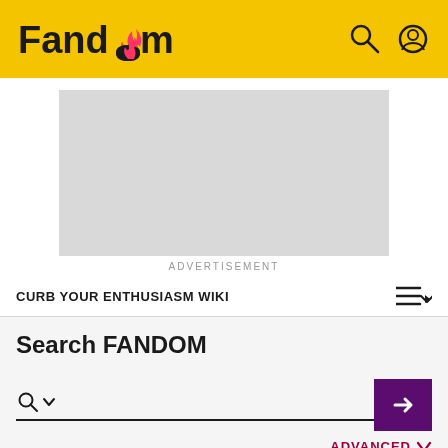Fandom
[Figure (other): Advertisement placeholder — light grey rectangle with 'ADVERTISEMENT' label below]
CURB YOUR ENTHUSIASM WIKI
Search FANDOM
ADVANCED
Articles
Photos and Videos
Blogs
People
Ever…